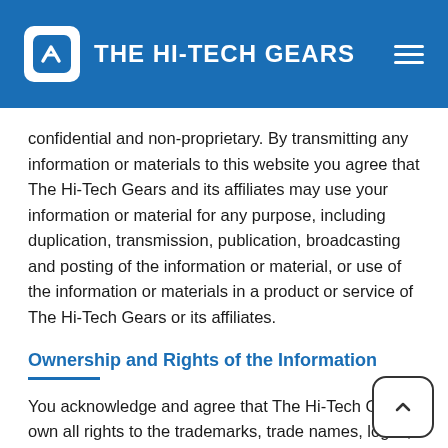THE HI-TECH GEARS
confidential and non-proprietary. By transmitting any information or materials to this website you agree that The Hi-Tech Gears and its affiliates may use your information or material for any purpose, including duplication, transmission, publication, broadcasting and posting of the information or material, or use of the information or materials in a product or service of The Hi-Tech Gears or its affiliates.
Ownership and Rights of the Information
You acknowledge and agree that The Hi-Tech Gears own all rights to the trademarks, trade names, logos, emblems service mark, software, IPRs and material undisputedly. You are given a limited non-exclusive, non-transferable,